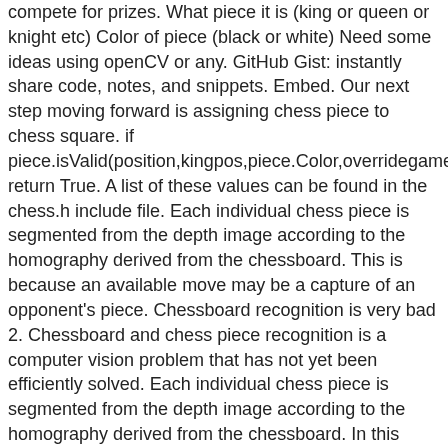compete for prizes. What piece it is (king or queen or knight etc) Color of piece (black or white) Need some ideas using openCV or any. GitHub Gist: instantly share code, notes, and snippets. Embed. Our next step moving forward is assigning chess piece to chess square. if piece.isValid(position,kingpos,piece.Color,overridegameboard): return True. A list of these values can be found in the chess.h include file. Each individual chess piece is segmented from the depth image according to the homography derived from the chessboard. This is because an available move may be a capture of an opponent's piece. Chessboard recognition is very bad 2. Chessboard and chess piece recognition is a computer vision problem that has not yet been efficiently solved. Each individual chess piece is segmented from the depth image according to the homography derived from the chessboard. In this paper, we present an algorithm that can correctly recognize the state of a Chinese chess game by processing a photo of the chessboard. The algorithm proposed by Maciej A. Czyzewskia et al. If nothing happens, download Xcode and try again. If you bought a wooden chess set after watching "The Queen's Gambit," the price you paid was most likely dictated by just four pieces.From a report: The knights alone can account for as much as 50 percent of the cost of